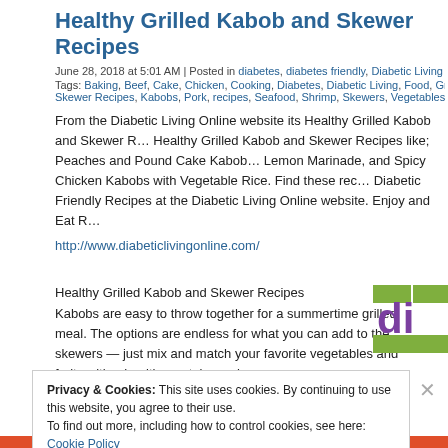Healthy Grilled Kabob and Skewer Recipes
June 28, 2018 at 5:01 AM | Posted in diabetes, diabetes friendly, Diabetic Living On Lin…
Tags: Baking, Beef, Cake, Chicken, Cooking, Diabetes, Diabetic Living, Food, Grilling, Skewer Recipes, Kabobs, Pork, recipes, Seafood, Shrimp, Skewers, Vegetables
From the Diabetic Living Online website its Healthy Grilled Kabob and Skewer Recipes. Healthy Grilled Kabob and Skewer Recipes like; Peaches and Pound Cake Kabobs, Lemon Marinade, and Spicy Chicken Kabobs with Vegetable Rice. Find these rec… Diabetic Friendly Recipes at the Diabetic Living Online website. Enjoy and Eat R…
http://www.diabeticlivingonline.com/
Healthy Grilled Kabob and Skewer Recipes
Kabobs are easy to throw together for a summertime grilled meal. The options are endless for what you can add to the skewers — just mix and match your favorite vegetables and fruits with a healthy protein, such as
Privacy & Cookies: This site uses cookies. By continuing to use this website, you agree to their use.
To find out more, including how to control cookies, see here: Cookie Policy
Close and accept